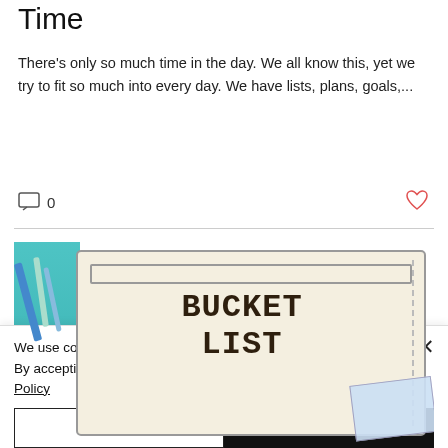Time
There's only so much time in the day. We all know this, yet we try to fit so much into every day. We have lists, plans, goals,...
0 [comment icon] [heart icon]
[Figure (illustration): Bucket List notebook/journal illustration with teal/blue background and a cream-colored ticket or label showing 'BUCKET LIST' in large typewriter font, with dashed border and a map peeking from the corner]
We use cookies on our website to see how you interact with it. By accepting, you agree to our use of such cookies. Privacy Policy
Settings | Accept